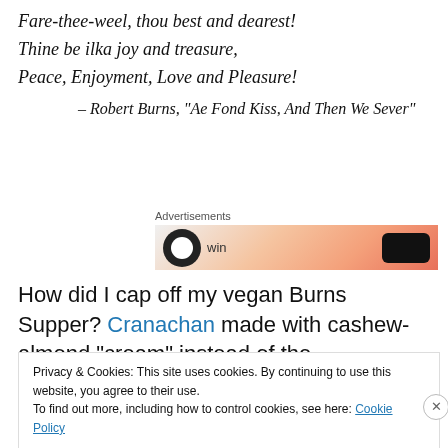Fare-thee-weel, thou best and dearest!
Thine be ilka joy and treasure,
Peace, Enjoyment, Love and Pleasure!
– Robert Burns, "Ae Fond Kiss, And Then We Sever"
[Figure (other): Advertisement banner with gradient orange/peach background, a circular logo and a pill-shaped dark button]
How did I cap off my vegan Burns Supper? Cranachan made with cashew-almond "cream" instead of the
Privacy & Cookies: This site uses cookies. By continuing to use this website, you agree to their use.
To find out more, including how to control cookies, see here: Cookie Policy